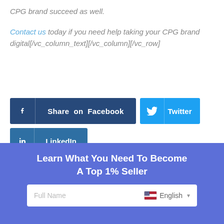CPG brand succeed as well.
Contact us today if you need help taking your CPG brand digital[/vc_column_text][/vc_column][/vc_row]
[Figure (infographic): Social share buttons: Share on Facebook (dark blue), Twitter (light blue), LinkedIn (medium blue)]
[Figure (infographic): Blue CTA box: Learn What You Need To Become A Top 1% Seller with a Full Name input field and English language selector]